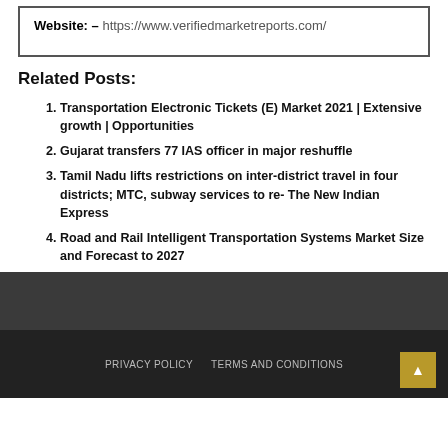Website: – https://www.verifiedmarketreports.com/
Related Posts:
Transportation Electronic Tickets (E) Market 2021 | Extensive growth | Opportunities
Gujarat transfers 77 IAS officer in major reshuffle
Tamil Nadu lifts restrictions on inter-district travel in four districts; MTC, subway services to re- The New Indian Express
Road and Rail Intelligent Transportation Systems Market Size and Forecast to 2027
PRIVACY POLICY   TERMS AND CONDITIONS